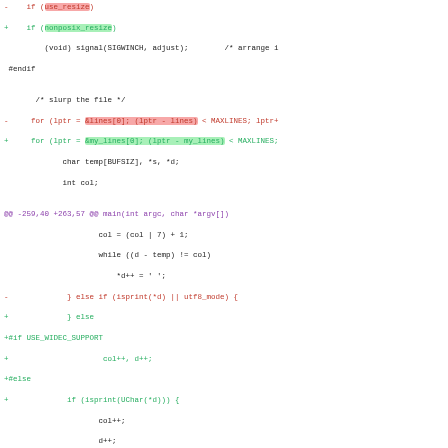[Figure (screenshot): Unified diff / patch view of C source code showing added and removed lines with syntax highlighting. Green lines are additions (+), red lines are deletions (-), purple lines are hunk headers (@@). Some tokens are highlighted with colored backgrounds.]